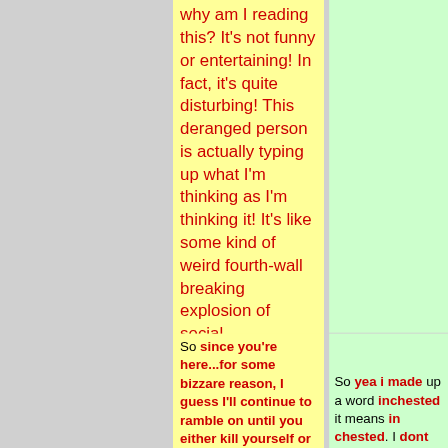why am I reading this? It's not funny or entertaining! In fact, it's quite disturbing! This deranged person is actually typing up what I'm thinking as I'm thinking it! It's like some kind of weird fourth-wall breaking explosion of social awkardness and cake, except there's no cake!" Though, I may have paraphased that a bit.
So since you're here...for some bizzare reason, I guess I'll continue to ramble on until you either kill yourself or make an extremely large donation to the
So yea i made up a word inchested it means in chested. I dont think your page is anything to do with the +wiki.you are my type.